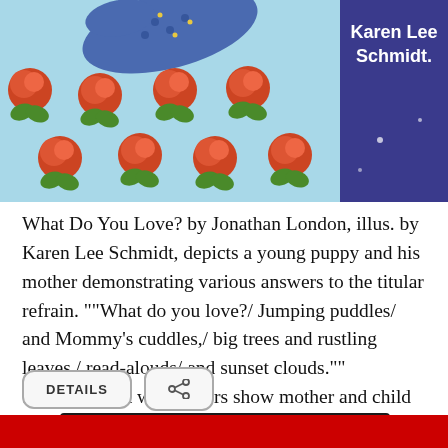[Figure (illustration): Top portion of a children's book cover showing illustrated roses on a light blue background with a blue decorated bird/whale shape, and author name 'Karen Lee Schmidt' in white bold text on the right side.]
What Do You Love? by Jonathan London, illus. by Karen Lee Schmidt, depicts a young puppy and his mother demonstrating various answers to the titular refrain. ""What do you love?/ Jumping puddles/ and Mommy's cuddles,/ big trees and rustling leaves,/ read-alouds/ and sunset clouds."" Schmidt's soft watercolors show mother and child from sun-up to tuck-in.